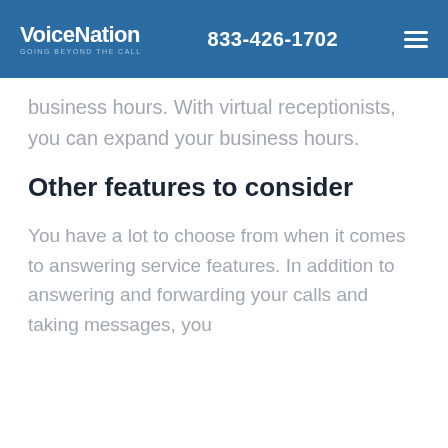VoiceNation GOING BEYOND THE CALL | 833-426-1702
business hours. With virtual receptionists, you can expand your business hours.
Other features to consider
You have a lot to choose from when it comes to answering service features. In addition to answering and forwarding your calls and taking messages, you